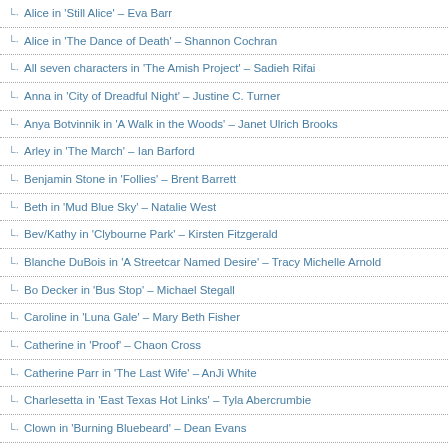Alice in 'Still Alice' – Eva Barr
Alice in 'The Dance of Death' – Shannon Cochran
All seven characters in 'The Amish Project' – Sadieh Rifai
Anna in 'City of Dreadful Night' – Justine C. Turner
Anya Botvinnik in 'A Walk in the Woods' – Janet Ulrich Brooks
Arley in 'The March' – Ian Barford
Benjamin Stone in 'Follies' – Brent Barrett
Beth in 'Mud Blue Sky' – Natalie West
Bev/Kathy in 'Clybourne Park' – Kirsten Fitzgerald
Blanche DuBois in 'A Streetcar Named Desire' – Tracy Michelle Arnold
Bo Decker in 'Bus Stop' – Michael Stegall
Caroline in 'Luna Gale' – Mary Beth Fisher
Catherine in 'Proof' – Chaon Cross
Catherine Parr in 'The Last Wife' – AnJi White
Charlesetta in 'East Texas Hot Links' – Tyla Abercrumbie
Clown in 'Burning Bluebeard' – Dean Evans
Clytemnestra in 'Agamemnon' – Sandra Marquez
Davies in 'The Caretaker' – Bill Norris
Donel in 'The Opponent' – Kamal Angelo Bolden
Eddie Carbone in 'A View From the Bridge' – Ramón Camín
George in 'Who's Afraid of Virginia Woolf?' – Brian Parry